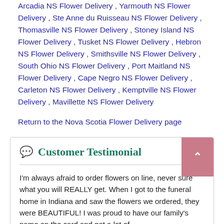Arcadia NS Flower Delivery , Yarmouth NS Flower Delivery , Ste Anne du Ruisseau NS Flower Delivery , Thomasville NS Flower Delivery , Stoney Island NS Flower Delivery , Tusket NS Flower Delivery , Hebron NS Flower Delivery , Smithsville NS Flower Delivery , South Ohio NS Flower Delivery , Port Maitland NS Flower Delivery , Cape Negro NS Flower Delivery , Carleton NS Flower Delivery , Kemptville NS Flower Delivery , Mavillette NS Flower Delivery
Return to the Nova Scotia Flower Delivery page
Customer Testimonial
I'm always afraid to order flowers on line, never sure what you will REALLY get. When I got to the funeral home in Indiana and saw the flowers we ordered, they were BEAUTIFUL! I was proud to have our family's name on the card and got a lot of